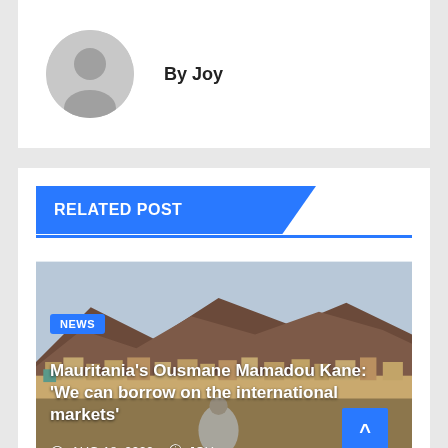By Joy
RELATED POST
[Figure (photo): Aerial/rooftop view of a city with desert mountains in the background, Mauritania]
NEWS
Mauritania's Ousmane Mamadou Kane: 'We can borrow on the international markets'
AUG 18, 2022   JOY